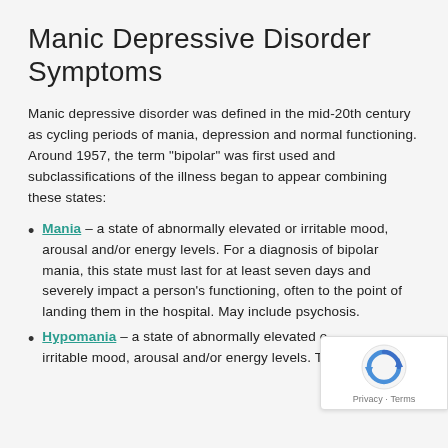Manic Depressive Disorder Symptoms
Manic depressive disorder was defined in the mid-20th century as cycling periods of mania, depression and normal functioning. Around 1957, the term "bipolar" was first used and subclassifications of the illness began to appear combining these states:
Mania – a state of abnormally elevated or irritable mood, arousal and/or energy levels. For a diagnosis of bipolar mania, this state must last for at least seven days and severely impact a person's functioning, often to the point of landing them in the hospital. May include psychosis.
Hypomania – a state of abnormally elevated or irritable mood, arousal and/or energy levels. Th...